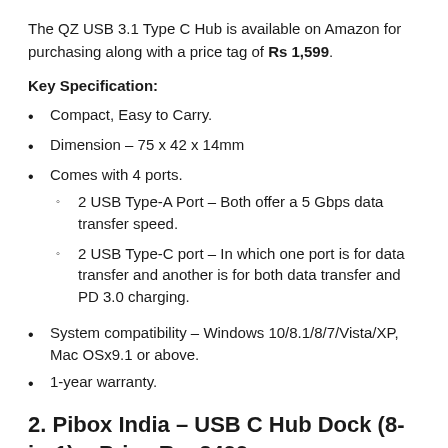The QZ USB 3.1 Type C Hub is available on Amazon for purchasing along with a price tag of Rs 1,599.
Key Specification:
Compact, Easy to Carry.
Dimension – 75 x 42 x 14mm
Comes with 4 ports.
2 USB Type-A Port – Both offer a 5 Gbps data transfer speed.
2 USB Type-C port – In which one port is for data transfer and another is for both data transfer and PD 3.0 charging.
System compatibility – Windows 10/8.1/8/7/Vista/XP, Mac OSx9.1 or above.
1-year warranty.
2. Pibox India – USB C Hub Dock (8-in-1) – Price Rs. 2499